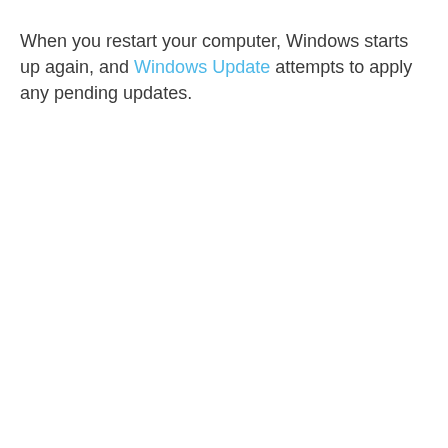When you restart your computer, Windows starts up again, and Windows Update attempts to apply any pending updates.